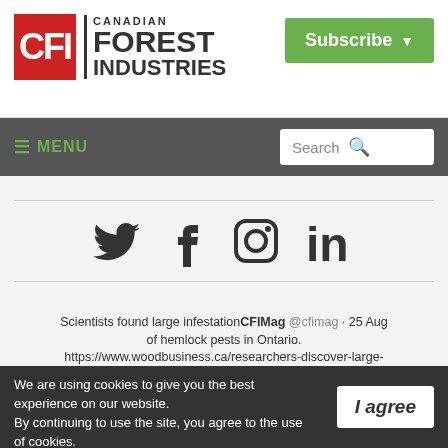Canadian Forest Industries | CFI | Subscribe
≡ MENU
[Figure (other): Social media icons: Twitter, Facebook, Instagram, LinkedIn]
Scientists found large infestation of hemlock pests in Ontario. https://www.woodbusiness.ca/researchers-discover-large-infes... #forestry #pests #infestation  CFIMag @cfimag · 25 Aug
We are using cookies to give you the best experience on our website. By continuing to use the site, you agree to the use of cookies. To find out more, read our privacy policy.